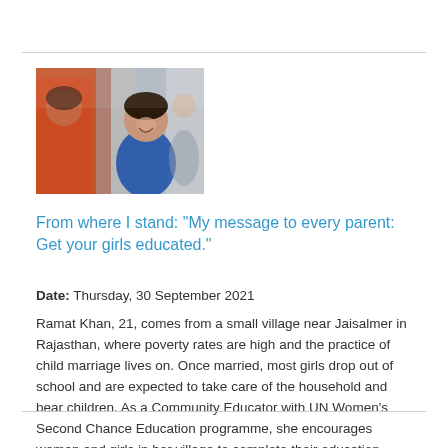[Figure (photo): A young woman smiling, wearing a blue top, photographed in an indoor setting with other people visible in the background, slightly blurred.]
From where I stand: "My message to every parent: Get your girls educated."
Date: Thursday, 30 September 2021
Ramat Khan, 21, comes from a small village near Jaisalmer in Rajasthan, where poverty rates are high and the practice of child marriage lives on. Once married, most girls drop out of school and are expected to take care of the household and bear children. As a Community Educator with UN Women's Second Chance Education programme, she encourages women and girls in her village to complete their education. During the Covid-19 pandemic,